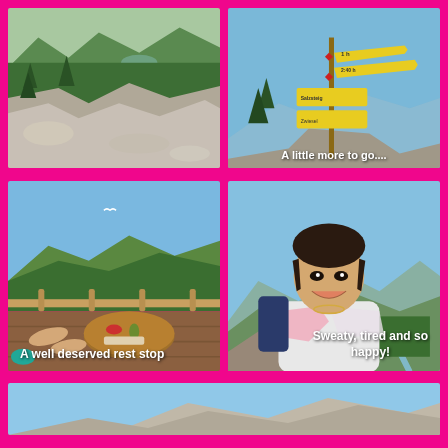[Figure (photo): Mountain valley landscape with rocky foreground, green pine trees and serpentine river in background]
[Figure (photo): Yellow trail signposts on a mountain with blue sky background. Caption: A little more to go....]
A little more to go....
[Figure (photo): Rest stop deck/terrace with person's feet up on table, mountain and blue sky view. Caption: A well deserved rest stop]
A well deserved rest stop
[Figure (photo): Young Asian woman smiling selfie at mountain summit with valley and river behind her. Caption: Sweaty, tired and so happy!]
Sweaty, tired and so happy!
[Figure (photo): Partial photo at bottom of page showing blue sky and rocky mountain top]